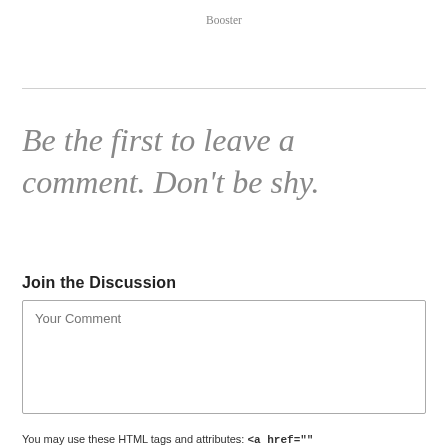Booster
Be the first to leave a comment. Don't be shy.
Join the Discussion
Your Comment
You may use these HTML tags and attributes: <a href=""